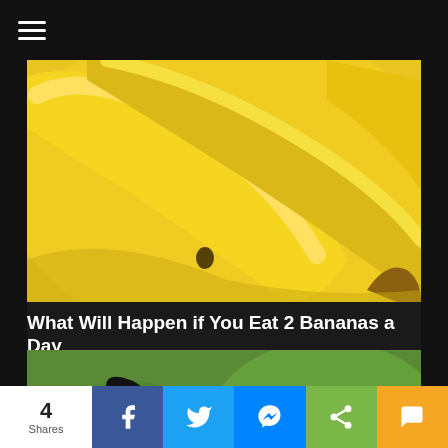Menu (hamburger icon)
[Figure (photo): Close-up photo of a bunch of yellow bananas]
What Will Happen if You Eat 2 Bananas a Day
DepressionFixed.com
[Figure (photo): Photo of a black and tan dog being hand-fed a treat by a person holding a green clicker, outdoors on green grass]
4 Shares | Facebook share | Twitter share | Messenger share | Share | SMS